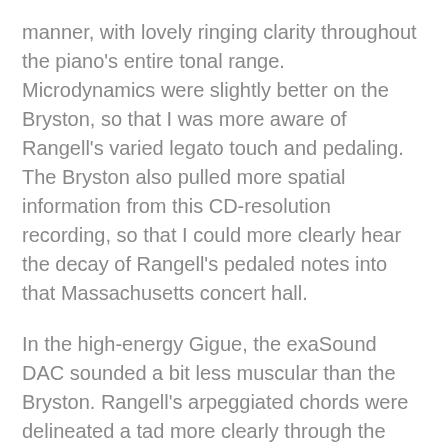manner, with lovely ringing clarity throughout the piano's entire tonal range. Microdynamics were slightly better on the Bryston, so that I was more aware of Rangell's varied legato touch and pedaling. The Bryston also pulled more spatial information from this CD-resolution recording, so that I could more clearly hear the decay of Rangell's pedaled notes into that Massachusetts concert hall.
In the high-energy Gigue, the exaSound DAC sounded a bit less muscular than the Bryston. Rangell's arpeggiated chords were delineated a tad more clearly through the BR-20, especially his lower-octave left-hand chords. The BR-20 was also a bit more agile in the way it tracked Rangell's expressive crescendi and diminuendi.
“The Treasure” by Siri Gjære and Tord Gustavsen sounded gorgeous on the exaSound too. But subtle details from...